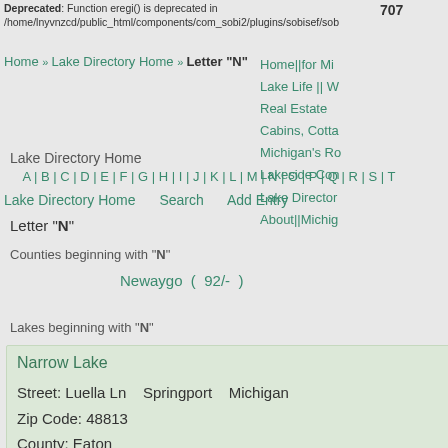Deprecated: Function eregi() is deprecated in /home/lnyvnzcd/public_html/components/com_sobi2/plugins/sobisef/sob
707
Home » Lake Directory Home » Letter "N"
Home||for Mi
Lake Life || W
Real Estate
Cabins, Cotta
Michigan's Ro
Lakeside Con
Lake Director
About||Michig
Lake Directory Home
A | B | C | D | E | F | G | H | I | J | K | L | M | N | O | P | Q | R | S | T
Lake Directory Home   Search   Add Entry
Letter "N"
Counties beginning with "N"
Newaygo ( 92/- )
Lakes beginning with "N"
Narrow Lake
Street: Luella Ln   Springport   Michigan
Zip Code: 48813
County: Eaton